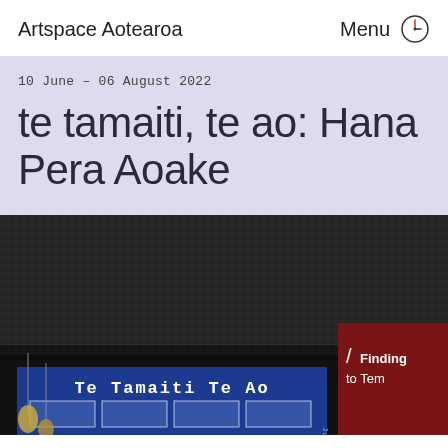Artspace Aotearoa    Menu
10 June – 06 August 2022
te tamaiti, te ao: Hana Pera Aoake
[Figure (photo): Interior/exterior photo of art gallery showing a dark metal mesh ceiling, a blue exhibition sign reading 'Te Tamaiti Te Ao', partially visible red panel with text 'Finding to Tem...', and hanging lamps at bottom left.]